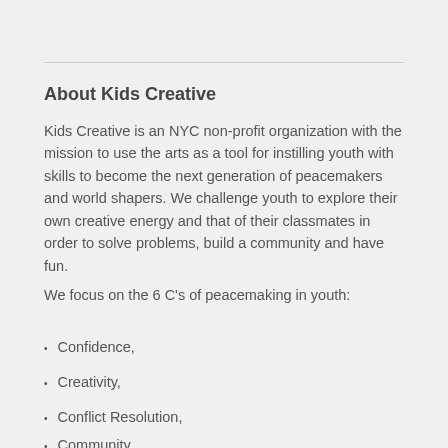About Kids Creative
Kids Creative is an NYC non-profit organization with the mission to use the arts as a tool for instilling youth with skills to become the next generation of peacemakers and world shapers. We challenge youth to explore their own creative energy and that of their classmates in order to solve problems, build a community and have fun.
We focus on the 6 C's of peacemaking in youth:
Confidence,
Creativity,
Conflict Resolution,
Community,